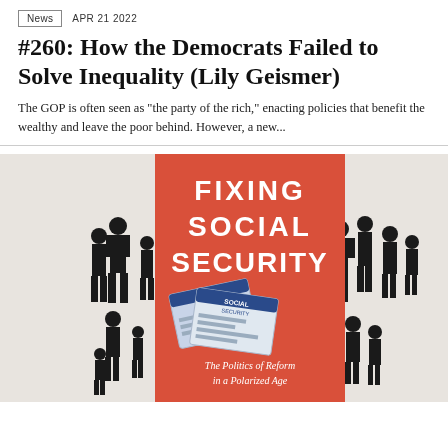News  APR 21 2022
#260: How the Democrats Failed to Solve Inequality (Lily Geismer)
The GOP is often seen as "the party of the rich," enacting policies that benefit the wealthy and leave the poor behind. However, a new...
[Figure (photo): Book cover of 'Fixing Social Security: The Politics of Reform in a Polarized Age' shown against a background of black silhouettes of people on a gray textured background. The cover has a coral/orange-red rectangle with white bold text 'FIXING SOCIAL SECURITY' and two social security cards illustrated below, with subtitle 'The Politics of Reform in a Polarized Age'.]